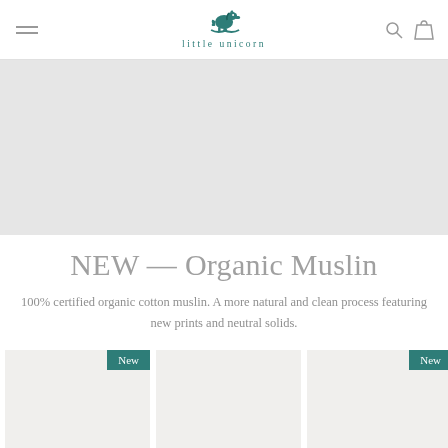little unicorn — navigation header with hamburger menu, logo, search and cart icons
[Figure (photo): Large light grey hero banner area]
NEW — Organic Muslin
100% certified organic cotton muslin. A more natural and clean process featuring new prints and neutral solids.
[Figure (photo): Product card with 'New' badge]
[Figure (photo): Product card with 'New' badge]
[Figure (photo): Partial product card]